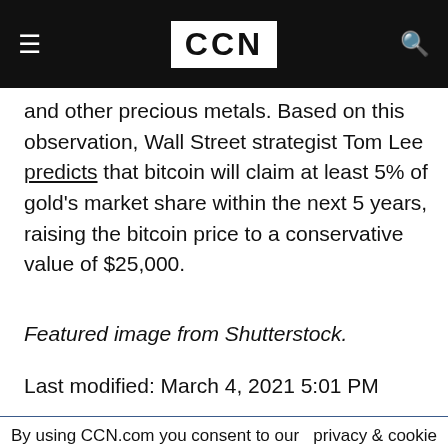CCN
and other precious metals. Based on this observation, Wall Street strategist Tom Lee predicts that bitcoin will claim at least 5% of gold's market share within the next 5 years, raising the bitcoin price to a conservative value of $25,000.
Featured image from Shutterstock.
Last modified: March 4, 2021 5:01 PM
By using CCN.com you consent to our  privacy & cookie policy.
Continue